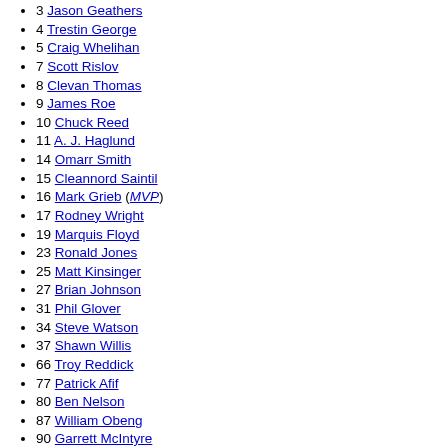3 Jason Geathers
4 Trestin George
5 Craig Whelihan
7 Scott Rislov
8 Clevan Thomas
9 James Roe
10 Chuck Reed
11 A. J. Haglund
14 Omarr Smith
15 Cleannord Saintil
16 Mark Grieb (MVP)
17 Rodney Wright
19 Marquis Floyd
23 Ronald Jones
25 Matt Kinsinger
27 Brian Johnson
31 Phil Glover
34 Steve Watson
37 Shawn Willis
66 Troy Reddick
77 Patrick Afif
80 Ben Nelson
87 William Obeng
90 Garrett McIntyre
91 Dan Loney